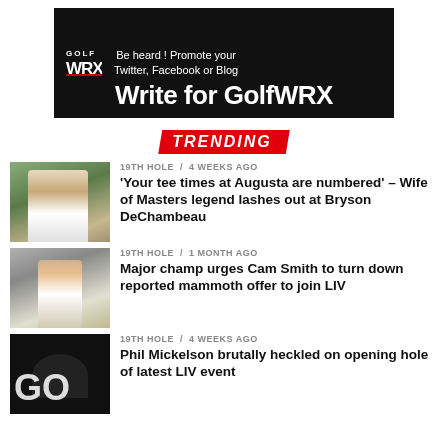[Figure (infographic): GolfWRX advertisement banner: black background with GOLF WRX logo, text 'Be heard! Promote your Twitter, Facebook or Blog', and large text 'Write for GolfWRX']
TRENDING
[Figure (photo): Golfer in white shirt smiling outdoors at Augusta]
19TH HOLE / 4 weeks ago
'Your tee times at Augusta are numbered' – Wife of Masters legend lashes out at Bryson DeChambeau
[Figure (photo): Golfer holding trophy]
19TH HOLE / 1 month ago
Major champ urges Cam Smith to turn down reported mammoth offer to join LIV
[Figure (photo): Phil Mickelson close-up with GQ magazine cover in background]
19TH HOLE / 4 weeks ago
Phil Mickelson brutally heckled on opening hole of latest LIV event